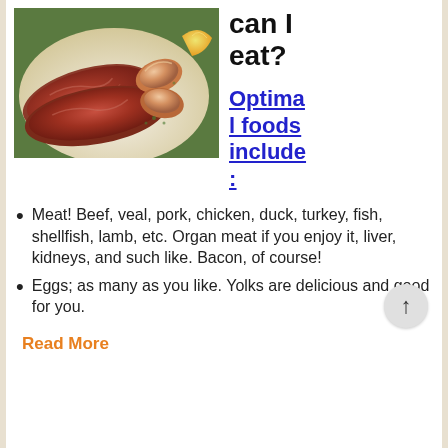[Figure (photo): Plate of sliced red meat (steak) and large grilled shrimp with a lemon wedge]
can I eat?
Optimal foods include:
Meat! Beef, veal, pork, chicken, duck, turkey, fish, shellfish, lamb, etc. Organ meat if you enjoy it, liver, kidneys, and such like. Bacon, of course!
Eggs; as many as you like. Yolks are delicious and good for you.
Read More